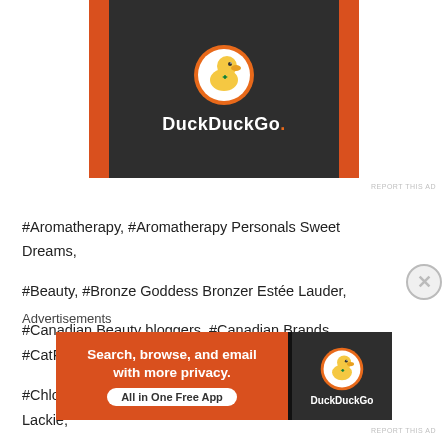[Figure (logo): DuckDuckGo advertisement banner with orange background, dark center panel, duck logo icon, and DuckDuckGo. text]
REPORT THIS AD
#Aromatherapy, #Aromatherapy Personals Sweet Dreams, #Beauty, #Bronze Goddess Bronzer Estée Lauder, #Canadian Beauty bloggers, #Canadian Brands, #CatForsley, #Chloé Love Story Eau De Toilette, #Curl Keeper, #Dave Lackie, #Delia Organics, #Face Masks, #Favourites, #great products for dry skin, #i'm the clash, #illuminators, #July giveaway, #Launch party, #Mugler, #MyLipAddiction, #NARS Dupe, #natural skincare, #Nuworld Botanicals, #NYX Born to Glow, #Product Reviews, #products for sensitive skin
Advertisements
[Figure (logo): DuckDuckGo advertisement banner with orange background, 'Search, browse, and email with more privacy. All in One Free App' text and DuckDuckGo logo on dark right panel]
REPORT THIS AD